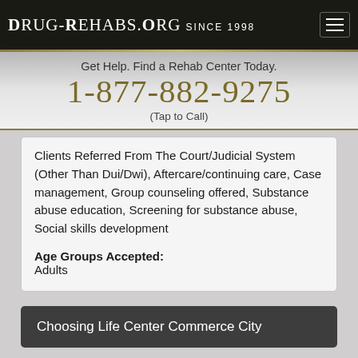DRUG-REHABS.ORG SINCE 1998
Get Help. Find a Rehab Center Today.
1-877-882-9275
(Tap to Call)
Clients Referred From The Court/Judicial System (Other Than Dui/Dwi), Aftercare/continuing care, Case management, Group counseling offered, Substance abuse education, Screening for substance abuse, Social skills development
Age Groups Accepted: Adults
Choosing Life Center Commerce City